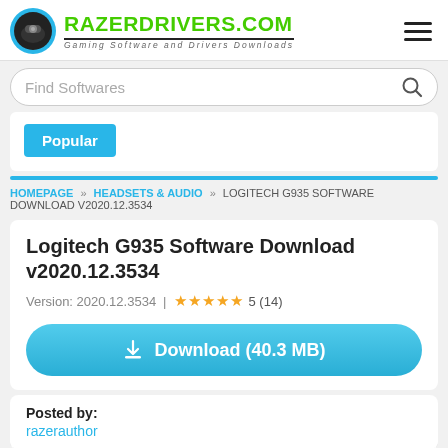RAZERDRIVERS.COM — Gaming Software and Drivers Downloads
Find Softwares
Popular
HOMEPAGE » HEADSETS & AUDIO » LOGITECH G935 SOFTWARE DOWNLOAD V2020.12.3534
Logitech G935 Software Download v2020.12.3534
Version: 2020.12.3534 | ★★★★★ 5 (14)
Download (40.3 MB)
Posted by: razerauthor